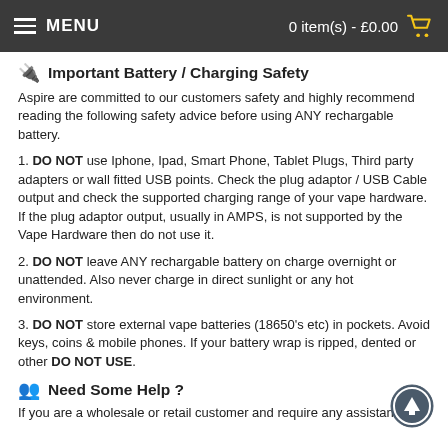MENU  0 item(s) - £0.00
Important Battery / Charging Safety
Aspire are committed to our customers safety and highly recommend reading the following safety advice before using ANY rechargable battery.
1. DO NOT use Iphone, Ipad, Smart Phone, Tablet Plugs, Third party adapters or wall fitted USB points. Check the plug adaptor / USB Cable output and check the supported charging range of your vape hardware. If the plug adaptor output, usually in AMPS, is not supported by the Vape Hardware then do not use it.
2. DO NOT leave ANY rechargable battery on charge overnight or unattended. Also never charge in direct sunlight or any hot environment.
3. DO NOT store external vape batteries (18650's etc) in pockets. Avoid keys, coins & mobile phones. If your battery wrap is ripped, dented or other DO NOT USE.
Need Some Help ?
If you are a wholesale or retail customer and require any assistance at